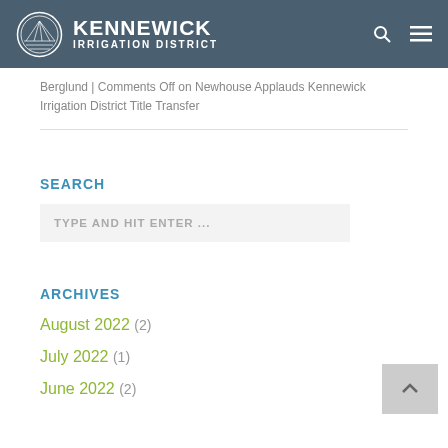Kennewick Irrigation District
Berglund | Comments Off on Newhouse Applauds Kennewick Irrigation District Title Transfer
SEARCH
TYPE AND HIT ENTER ...
ARCHIVES
August 2022 (2)
July 2022 (1)
June 2022 (2)